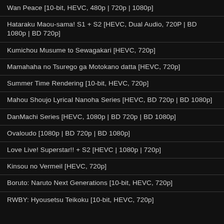Wan Peace [10-bit, HEVC, 480p | 720p | 1080p]
Hataraku Maou-sama! S1 + S2 [HEVC, Dual Audio, 720P | BD 1080p | BD 720p]
Kumichou Musume to Sewagakari [HEVC, 720p]
Mamahaha no Tsurego ga Motokano datta [HEVC, 720p]
Summer Time Rendering [10-bit, HEVC, 720p]
Mahou Shoujo Lyrical Nanoha Series [HEVC, BD 720p | BD 1080p]
DanMachi Series [HEVC, 1080p | BD 720p | BD 1080p]
Ovaloudo [1080p | BD 720p | BD 1080p]
Love Live! Superstar!! + S2 [HEVC | 1080p | 720p]
Kinsou no Vermeil [HEVC, 720p]
Boruto: Naruto Next Generations [10-bit, HEVC, 720p]
RWBY: Hyousetsu Teikoku [10-bit, HEVC, 720p]